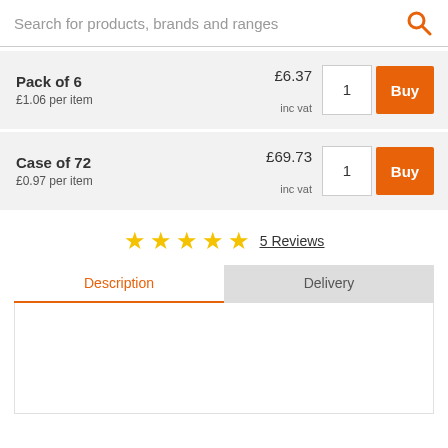Search for products, brands and ranges
| Product | Price | Qty | Action |
| --- | --- | --- | --- |
| Pack of 6
£1.06 per item | £6.37
inc vat | 1 | Buy |
| Case of 72
£0.97 per item | £69.73
inc vat | 1 | Buy |
★★★★★ 5 Reviews
Description | Delivery